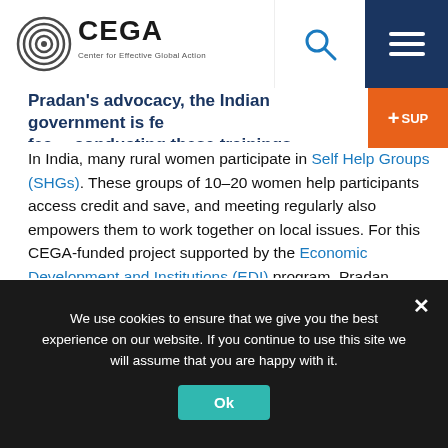CEGA – Center for Effective Global Action navigation bar with logo, search, and menu
Pradan's advocacy, the Indian government is fea... fea... providing/conducting these trainings across the ...
In India, many rural women participate in Self Help Groups (SHGs). These groups of 10–20 women help participants access credit and save, and meeting regularly also empowers them to work together on local issues. For this CEGA-funded project supported by the Economic Development and Institutions (EDI) program, Pradan collaborated with Prillaman to design and implement a training program to help more than eight thousand women in SHGs visit local council meetings, and understand their rights and women's under-representation in politics. As a result of the training, women substantially increase their political participation: women in SHGs who received the training were twice as likely to attend village meetings, petition for government benefits or services, and...
We use cookies to ensure that we give you the best experience on our website. If you continue to use this site we will assume that you are happy with it.